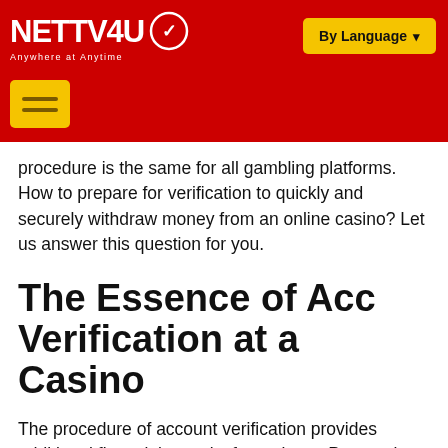[Figure (logo): NETTV4U logo with circular emblem and tagline 'Anywhere at Anytime' on red background, with 'By Language' dropdown button in yellow]
[Figure (infographic): Red navigation bar with yellow hamburger menu button]
procedure is the same for all gambling platforms. How to prepare for verification to quickly and securely withdraw money from an online casino? Let us answer this question for you.
The Essence of Acc Verification at a Casino
The procedure of account verification provides additional financial security for a player. Personal identification helps prevent unauthorized money withdrawal when a gambler's account is hacked or in